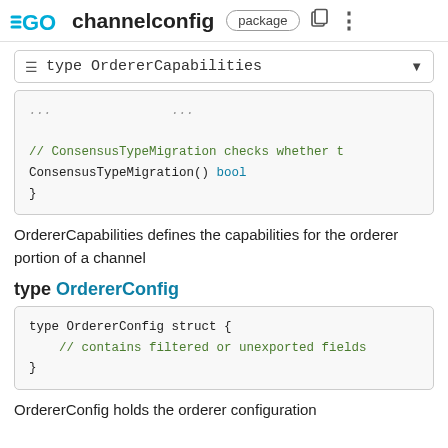GO channelconfig package
≡ type OrdererCapabilities
[Figure (screenshot): Code block showing partial interface definition with ConsensusTypeMigration() bool method and closing brace]
OrdererCapabilities defines the capabilities for the orderer portion of a channel
type OrdererConfig
[Figure (screenshot): Code block: type OrdererConfig struct { // contains filtered or unexported fields }]
OrdererConfig holds the orderer configuration